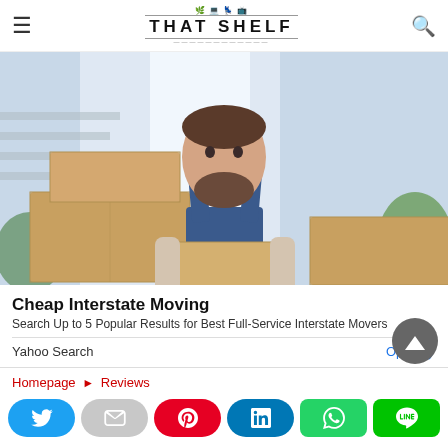THAT SHELF
[Figure (photo): A bearded man in blue overalls and white long-sleeve shirt standing among cardboard moving boxes in a bright modern interior with plants]
Cheap Interstate Moving
Search Up to 5 Popular Results for Best Full-Service Interstate Movers
Yahoo Search   Open >
Homepage ► Reviews
[Figure (infographic): Social sharing buttons: Twitter, Email, Pinterest, LinkedIn, WhatsApp, LINE]